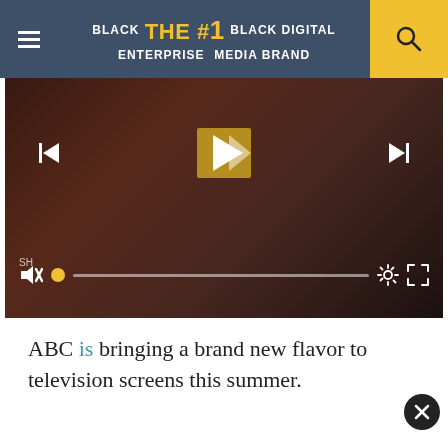BLACK ENTERPRISE THE #1 BLACK DIGITAL MEDIA BRAND
[Figure (screenshot): Video player showing a dark-toned video with playback controls including skip back, play, skip forward buttons at top center, and mute, progress bar, settings gear, and fullscreen icons at bottom. A yellow/gold play button icon is visible in the center of the video.]
ABC is bringing a brand new flavor to television screens this summer.